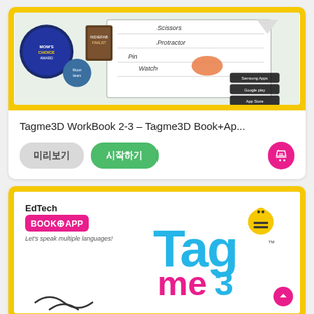[Figure (screenshot): Tagme3D WorkBook 2-3 product card with yellow border, showing a worksheet/workbook page with scissors, protractor, and other stationery items, and award badges (Mom's Choice Award, Moonbeam, Indiefab Finalist). App store download buttons visible.]
Tagme3D WorkBook 2-3 – Tagme3D Book+Ap...
미리보기
시작하기
[Figure (screenshot): Second product card with yellow border showing EdTech BOOK+APP branding with Tagme3D logo. Text reads 'EdTech', 'BOOK+APP', 'Let's speak multiple languages!' and partial Tagme3D logo in blue/pink. A bee mascot is visible.]